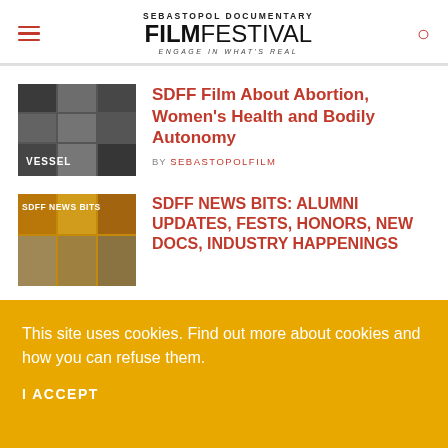Sebastopol Documentary Film Festival — Engage in What's Real
[Figure (illustration): Thumbnail collage image for VESSEL documentary film, dark tones with film poster collage]
SDFF Film About Abortion, Women's Health and Bodily Autonomy
BY SEBASTOPOLFILM
[Figure (illustration): Thumbnail collage image for SDFF News Bits with film posters, golden/yellow tones]
SDFF NEWS BITS: ALUMNI UPDATES, FESTS, HONORS, NEW DOCS, INDUSTRY HAPPENINGS
This site uses cookies. Find out more about cookies and how you can refuse them.
I ACCEPT